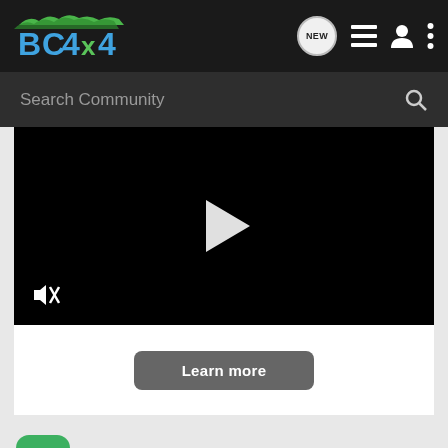BC4x4 navigation bar with logo, NEW, list, user, and menu icons
Search Community
[Figure (screenshot): Black video player area with white play button triangle in center and muted icon (speaker with X) in bottom-left corner]
Learn more
St. Pete · Registered
Joined Feb 4, 2001 · 4 Posts
#9 · Oct
Dave co...
[Figure (photo): THE NEW 2022 SILVERADO. Chevrolet advertisement banner with truck image and Explore button]